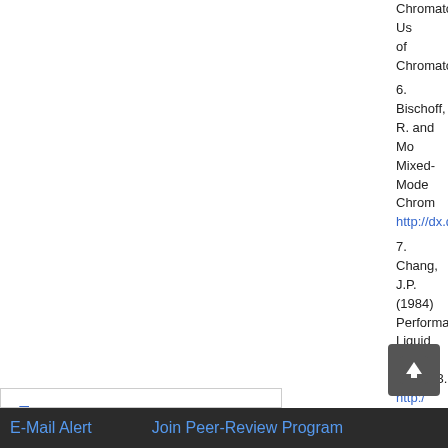Chromatography Us... of Chromatography...
6. Bischoff, R. and Mo... Mixed-Mode Chrom... http://dx.doi.org/10....
7. Chang, J.P. (1984) Performance Liquid... 317, 157-163. http:/...
8. Torres, J.L., Guzma... Bound Ligands for M... http://dx.doi.org/10....
9. Guzman, R., Torres... Surfactants for Affin... http://dx.doi....
10. Keller, D.E.,... Octadecyl-B 176, 191-19
Top
ABSTRACT
Introduction
Experimental
Results and Discussion
Conclusions
E-Mail Alert    Join Peer-Review Program